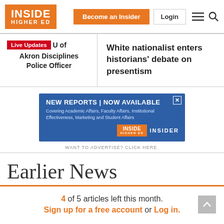[Figure (logo): Inside Higher Ed logo — orange box with white text reading INSIDE / HIGHER ED]
Become an Insider | Login
Live Updates U of Akron Disciplines Police Officer
White nationalist enters historians' debate on presentism
[Figure (infographic): Advertisement banner: NEW REPORTS | NOW AVAILABLE — Covering Academic Affairs, Faculty Affairs, Institutional Effectiveness, Marketing and Student Affairs. Inside Higher Ed Insider logo on right.]
WANT TO ADVERTISE? CLICK HERE.
Earlier News
4 of 5 articles left this month. Sign up for a free account or Log in.